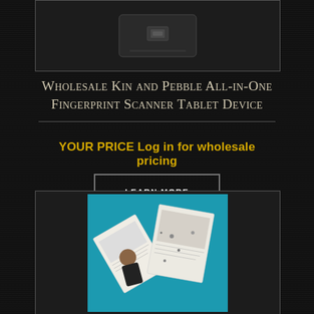[Figure (photo): Top image showing a fingerprint scanner tablet device on dark background]
Wholesale Kin and Pebble All-in-One Fingerprint Scanner Tablet Device
YOUR PRICE Log in for wholesale pricing
LEARN MORE
[Figure (photo): Bottom image showing open catalogs/magazines spread out on a teal/blue background with jewelry items visible]